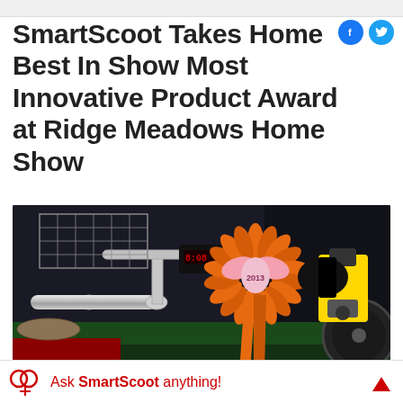SmartScoot Takes Home Best In Show Most Innovative Product Award at Ridge Meadows Home Show
[Figure (photo): Photo of a SmartScoot mobility scooter displayed at a trade show booth with an orange and pink Best in Show ribbon/rosette award from 2013. The scooter's handlebar and digital display are visible, along with a yellow power tool in the background and green table coverings.]
Ask SmartScoot anything!